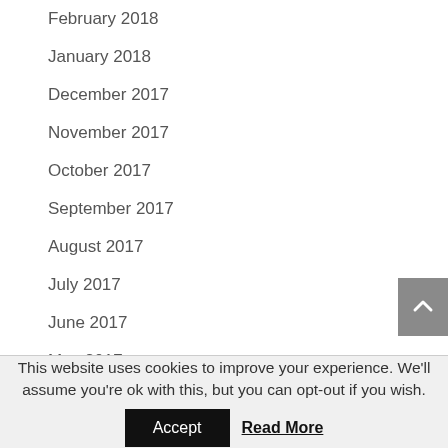February 2018
January 2018
December 2017
November 2017
October 2017
September 2017
August 2017
July 2017
June 2017
May 2017
April 2017
This website uses cookies to improve your experience. We'll assume you're ok with this, but you can opt-out if you wish.
Accept   Read More